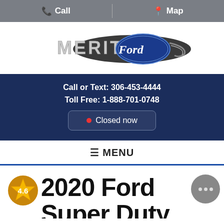Call | Map
[Figure (logo): Merit Ford dealership logo — 'MERIT' text in chrome/silver with Ford oval badge]
Call or Text: 306-453-4444
Toll Free: 1-888-701-0748
• Closed now
≡ MENU
2020 Ford Super Duty F-450 DRW